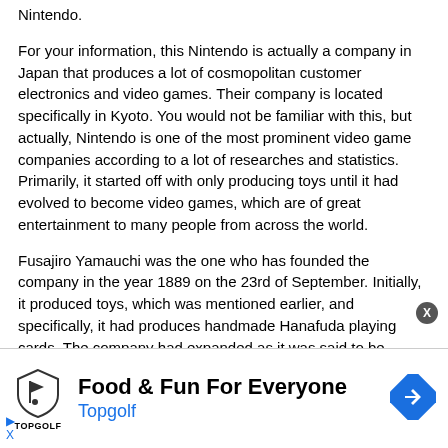Nintendo.
For your information, this Nintendo is actually a company in Japan that produces a lot of cosmopolitan customer electronics and video games. Their company is located specifically in Kyoto. You would not be familiar with this, but actually, Nintendo is one of the most prominent video game companies according to a lot of researches and statistics. Primarily, it started off with only producing toys until it had evolved to become video games, which are of great entertainment to many people from across the world.
Fusajiro Yamauchi was the one who has founded the company in the year 1889 on the 23rd of September. Initially, it produced toys, which was mentioned earlier, and specifically, it had produces handmade Hanafuda playing cards. The company had expanded as it was said to be...
[Figure (infographic): Topgolf advertisement banner. Logo with shield icon and TOPGOLF text. Headline: Food & Fun For Everyone. Subtext: Topgolf in blue. Blue diamond arrow icon on the right.]